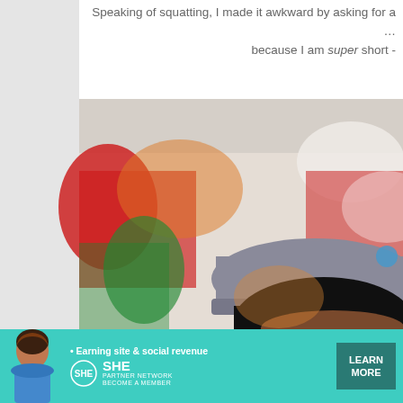Speaking of squatting, I made it awkward by asking for a … because I am super short -
[Figure (photo): Close-up photo of a person wearing a baseball cap with colorful artwork/mural visible in the background. The person appears to have dark hair and is wearing glasses partially visible at the bottom of the frame.]
X
[Figure (infographic): Advertisement banner for SHE Partner Network. Teal/green background with a woman's photo on the left side. Text reads: Earning site & social revenue. SHE PARTNER NETWORK BECOME A MEMBER. Learn More button on the right.]